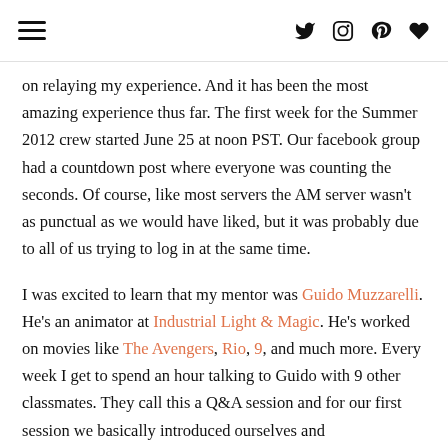[ hamburger menu icon ] [ twitter icon ] [ instagram icon ] [ pinterest icon ] [ heart icon ]
on relaying my experience. And it has been the most amazing experience thus far. The first week for the Summer 2012 crew started June 25 at noon PST. Our facebook group had a countdown post where everyone was counting the seconds. Of course, like most servers the AM server wasn't as punctual as we would have liked, but it was probably due to all of us trying to log in at the same time.
I was excited to learn that my mentor was Guido Muzzarelli. He's an animator at Industrial Light & Magic. He's worked on movies like The Avengers, Rio, 9, and much more. Every week I get to spend an hour talking to Guido with 9 other classmates. They call this a Q&A session and for our first session we basically introduced ourselves and